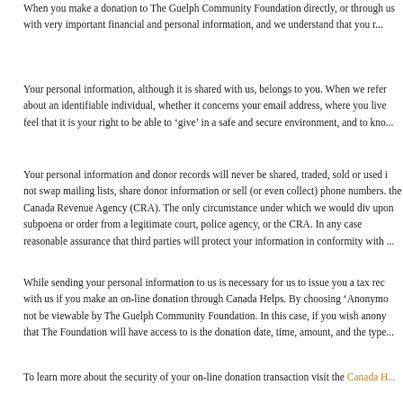When you make a donation to The Guelph Community Foundation directly, or through us with very important financial and personal information, and we understand that you r...
Your personal information, although it is shared with us, belongs to you. When we refer about an identifiable individual, whether it concerns your email address, where you live feel that it is your right to be able to ‘give’ in a safe and secure environment, and to kno...
Your personal information and donor records will never be shared, traded, sold or used i not swap mailing lists, share donor information or sell (or even collect) phone numbers. the Canada Revenue Agency (CRA). The only circumstance under which we would div upon subpoena or order from a legitimate court, police agency, or the CRA. In any case reasonable assurance that third parties will protect your information in conformity with ...
While sending your personal information to us is necessary for us to issue you a tax rec with us if you make an on-line donation through Canada Helps. By choosing ‘Anonymo not be viewable by The Guelph Community Foundation. In this case, if you wish anony that The Foundation will have access to is the donation date, time, amount, and the type...
To learn more about the security of your on-line donation transaction visit the Canada H...